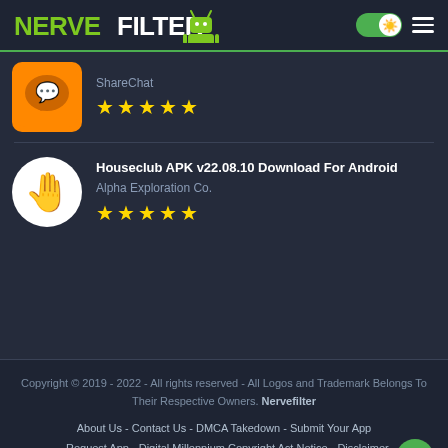NerveFilter
[Figure (screenshot): ShareChat app icon - orange background with chat bubble]
ShareChat
★★★★★
Houseclub APK v22.08.10 Download For Android
Alpha Exploration Co.
★★★★★
Copyright © 2019 - 2022 - All rights reserved - All Logos and Trademark Belongs To Their Respective Owners. Nervefilter
About Us - Contact Us - DMCA Takedown - Submit Your App - Request App - Digital Millennium Copyright Act Notice - Disclaimer - Privacy Policy